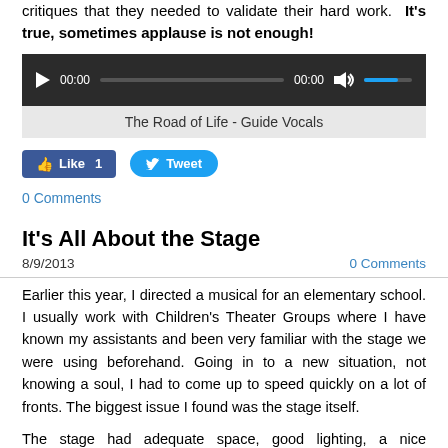critiques that they needed to validate their hard work.  It's true, sometimes applause is not enough!
[Figure (screenshot): Audio player showing 'The Road of Life - Guide Vocals' with play button, progress bar, time display 00:00, volume control, and track label on gray background]
[Figure (infographic): Facebook Like button (count: 1) and Twitter Tweet button]
0 Comments
It's All About the Stage
8/9/2013
0 Comments
Earlier this year, I directed a musical for an elementary school.  I usually work with Children's Theater Groups where I have known my assistants and been very familiar with the stage we were using beforehand.  Going in to a new situation, not knowing a soul, I had to come up to speed quickly on a lot of fronts.  The biggest issue I found was the stage itself.
The stage had adequate space, good lighting, a nice procenium curtain, but not the front focus and what I had been